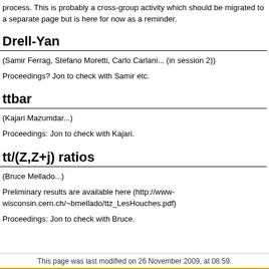process. This is probably a cross-group activity which should be migrated to a separate page but is here for now as a reminder.
Drell-Yan
(Samir Ferrag, Stefano Moretti, Carlo Carlani... (in session 2))
Proceedings? Jon to check with Samir etc.
ttbar
(Kajari Mazumdar...)
Proceedings: Jon to check with Kajari.
tt/(Z,Z+j) ratios
(Bruce Mellado...)
Preliminary results are available here (http://www-wisconsin.cern.ch/~bmellado/ttz_LesHouches.pdf)
Proceedings: Jon to check with Bruce.
This page was last modified on 26 November 2009, at 08:59.